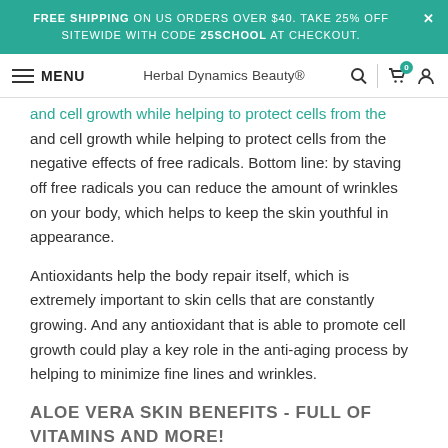FREE SHIPPING ON US ORDERS OVER $40. TAKE 25% OFF SITEWIDE WITH CODE 25SCHOOL AT CHECKOUT.
MENU | Herbal Dynamics Beauty® | [search] [cart 0] [account]
and cell growth while helping to protect cells from the negative effects of free radicals. Bottom line: by staving off free radicals you can reduce the amount of wrinkles on your body, which helps to keep the skin youthful in appearance.
Antioxidants help the body repair itself, which is extremely important to skin cells that are constantly growing. And any antioxidant that is able to promote cell growth could play a key role in the anti-aging process by helping to minimize fine lines and wrinkles.
ALOE VERA SKIN BENEFITS - FULL OF VITAMINS AND MORE!